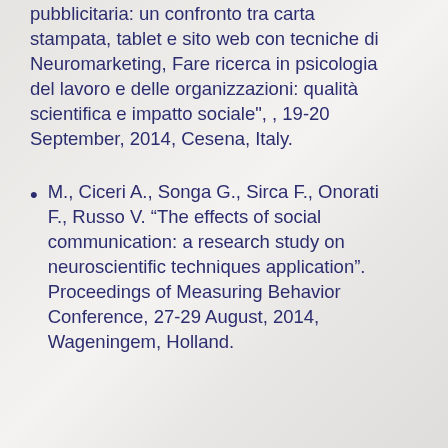pubblicitaria: un confronto tra carta stampata, tablet e sito web con tecniche di Neuromarketing, Fare ricerca in psicologia del lavoro e delle organizzazioni: qualità scientifica e impatto sociale", , 19-20 September, 2014, Cesena, Italy.
M., Ciceri A., Songa G., Sirca F., Onorati F., Russo V. “The effects of social communication: a research study on neuroscientific techniques application". Proceedings of Measuring Behavior Conference, 27-29 August, 2014, Wageningem, Holland.